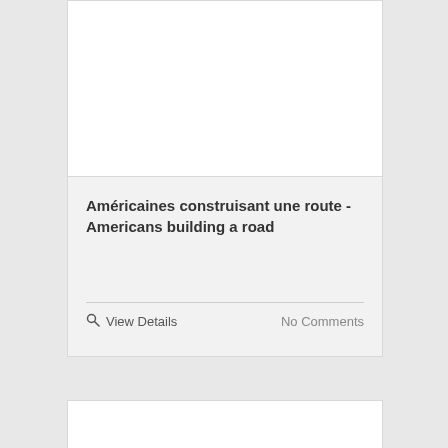[Figure (photo): White rectangle representing an image placeholder at top of card]
Américaines construisant une route - Americans building a road
View Details
No Comments
[Figure (photo): White rectangle representing an image placeholder for second card (partial)]